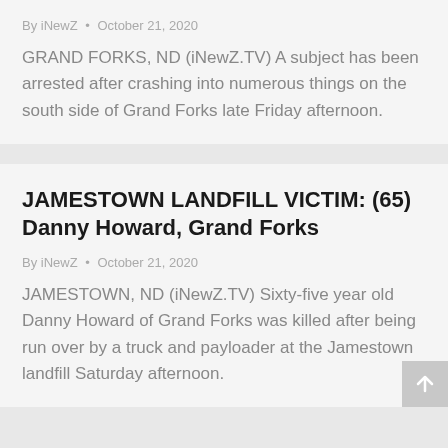By iNewZ · October 21, 2020
GRAND FORKS, ND (iNewZ.TV) A subject has been arrested after crashing into numerous things on the south side of Grand Forks late Friday afternoon.
JAMESTOWN LANDFILL VICTIM: (65) Danny Howard, Grand Forks
By iNewZ · October 21, 2020
JAMESTOWN, ND (iNewZ.TV) Sixty-five year old Danny Howard of Grand Forks was killed after being run over by a truck and payloader at the Jamestown landfill Saturday afternoon.